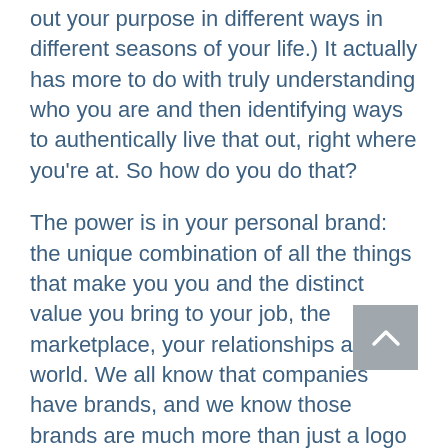out your purpose in different ways in different seasons of your life.) It actually has more to do with truly understanding who you are and then identifying ways to authentically live that out, right where you're at. So how do you do that?
The power is in your personal brand: the unique combination of all the things that make you you and the distinct value you bring to your job, the marketplace, your relationships and the world. We all know that companies have brands, and we know those brands are much more than just a logo or a tagline. A company's brand is really about what that company is known for and the